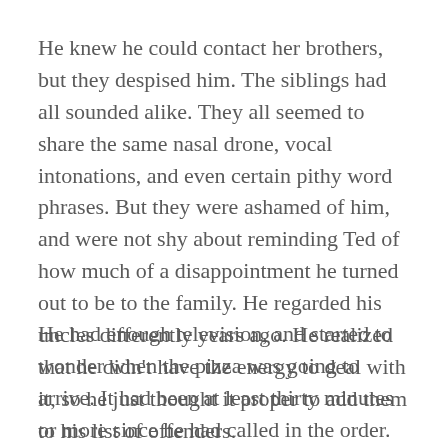He knew he could contact her brothers, but they despised him. The siblings had all sounded alike. They all seemed to share the same nasal drone, vocal intonations, and even certain pithy word phrases. But they were ashamed of him, and were not shy about reminding Ted of how much of a disappointment he turned out to be to the family. He regarded his uncles differently years ago. He realized that he didn't have the energy to deal with it, so he just thought it proper to add them to his list of offenders.
He had enough television, and started to wonder when the pizza was going to arrive. It had been at least thirty minutes or more since he had called in the order. Just as he pressed